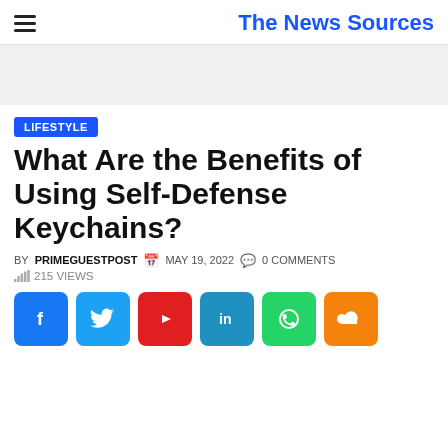The News Sources
[Figure (other): Gray advertisement banner placeholder]
LIFESTYLE
What Are the Benefits of Using Self-Defense Keychains?
BY PRIMEGUESTPOST  MAY 19, 2022  0 COMMENTS
215 VIEWS
[Figure (other): Social sharing buttons: Facebook, Twitter, YouTube, LinkedIn, WhatsApp, SoundCloud]